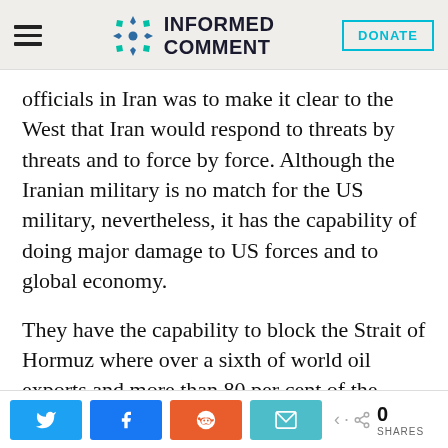Informed Comment
officials in Iran was to make it clear to the West that Iran would respond to threats by threats and to force by force. Although the Iranian military is no match for the US military, nevertheless, it has the capability of doing major damage to US forces and to global economy.
They have the capability to block the Strait of Hormuz where over a sixth of world oil exports and more than 80 per cent of the
Share buttons: Twitter, Facebook, Reddit, Email — 0 SHARES